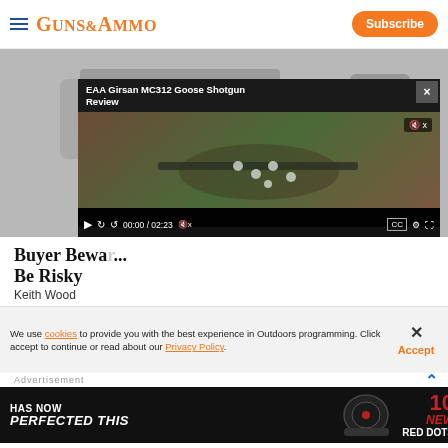GUNS&AMMO | Subscribe
[Figure (screenshot): Screenshot of Guns & Ammo website showing a gun image and an embedded video player with title 'EAA Girsan MC312 Goose Shotgun Review' with video controls showing 00:00 / 02:23]
Buyer Beware ... Be Risky
Keith Wood
We use cookies to provide you with the best experience in Outdoors programming. Click accept to continue or read about our Privacy Policy.
Advertisement
[Figure (screenshot): Advertisement banner with dark background reading 'HAS NOW PERFECTED THIS' on left, a red dot sight image in center, and '10 NEW RED DOTS' in red and white on the right]